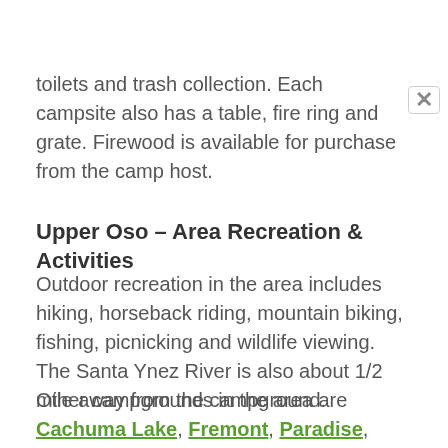toilets and trash collection. Each campsite also has a table, fire ring and grate. Firewood is available for purchase from the camp host.
Upper Oso – Area Recreation & Activities
Outdoor recreation in the area includes hiking, horseback riding, mountain biking, fishing, picnicking and wildlife viewing.  The Santa Ynez River is also about 1/2 mile away from the campground.
Other campgrounds in the area are Cachuma Lake, Fremont, Paradise, Sage Hill Group and Los Preitos.